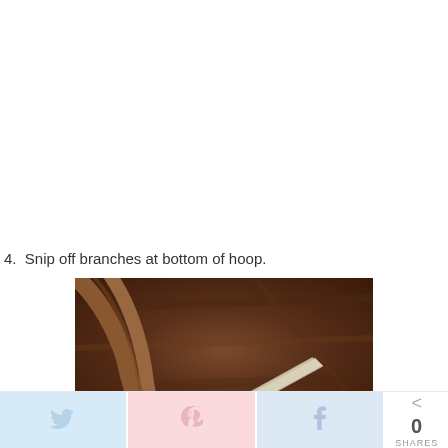4.  Snip off branches at bottom of hoop.
[Figure (photo): Close-up photo of scissors/snips cutting branches at the bottom of a grapevine hoop, with a wooden background visible.]
Twitter share button | Pinterest share button | Facebook share button | 0 SHARES